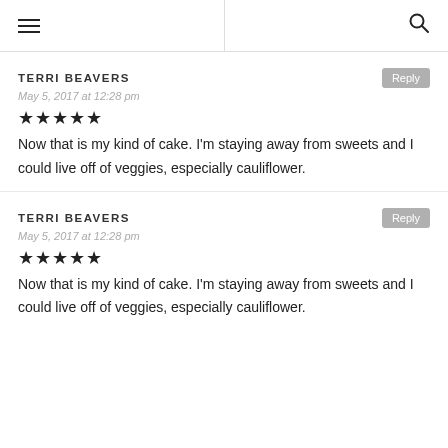≡  |  🔍
TERRI BEAVERS
May 5, 2017 at 12:28 pm
★★★★★
Now that is my kind of cake. I'm staying away from sweets and I could live off of veggies, especially cauliflower.
TERRI BEAVERS
May 5, 2017 at 12:28 pm
★★★★★
Now that is my kind of cake. I'm staying away from sweets and I could live off of veggies, especially cauliflower.